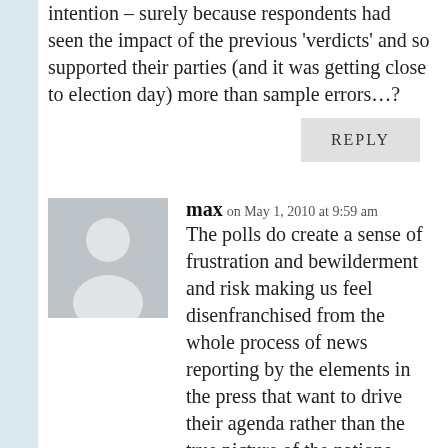intention – surely because respondents had seen the impact of the previous 'verdicts' and so supported their parties (and it was getting close to election day) more than sample errors…?
REPLY
max on May 1, 2010 at 9:59 am
The polls do create a sense of frustration and bewilderment and risk making us feel disenfranchised from the whole process of news reporting by the elements in the press that want to drive their agenda rather than the true picture of the nations